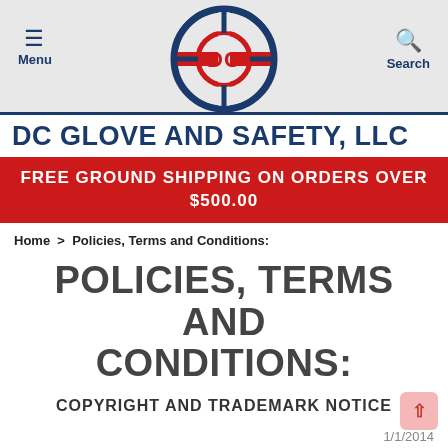Menu  |  DC Glove and Safety, LLC Logo  |  Search
DC GLOVE AND SAFETY, LLC
FREE GROUND SHIPPING ON ORDERS OVER $500.00
Home > Policies, Terms and Conditions:
POLICIES, TERMS AND CONDITIONS:
COPYRIGHT AND TRADEMARK NOTICE
1/1/2014